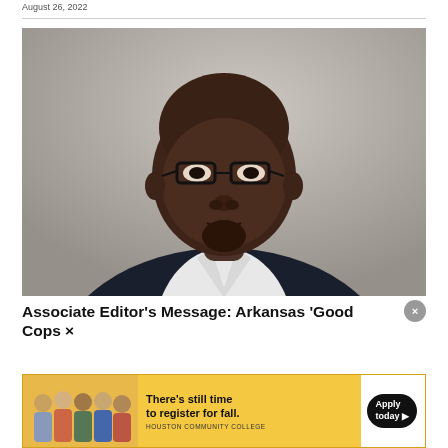August 26, 2022
[Figure (photo): Professional headshot of a Black man wearing glasses, a white shirt, and a dark blazer, photographed against a gray background.]
Associate Editor's Message: Arkansas 'Good Cops ×
[Figure (infographic): Houston Community College advertisement banner. Yellow background with group photo of students on left side. Text reads 'There's still time to register for fall.' with a black 'Apply today' button and Houston Community College branding.]